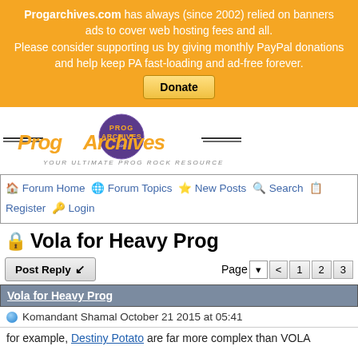Progarchives.com has always (since 2002) relied on banners ads to cover web hosting fees and all. Please consider supporting us by giving monthly PayPal donations and help keep PA fast-loading and ad-free forever. Donate
[Figure (logo): ProgArchives.com logo — purple sphere with prog archives text, 'your ultimate prog rock resource' tagline]
Forum Home  Forum Topics  New Posts  Search  Register  Login
Vola for Heavy Prog
Post Reply   Page < 1 2 3
Vola for Heavy Prog
Komandant Shamal October 21 2015 at 05:41
for example, Destiny Potato are far more complex than VOLA